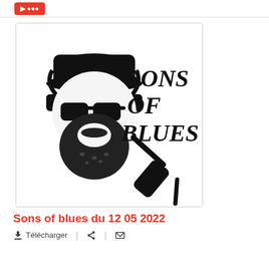[Figure (logo): Sons of Blues logo: black and white illustration of a bearded man with sunglasses and a headset holding a microphone, with bold italic text 'SONS OF BLUES' to the right]
Sons of blues du 12 05 2022
Télécharger | [share icon] | [email icon]